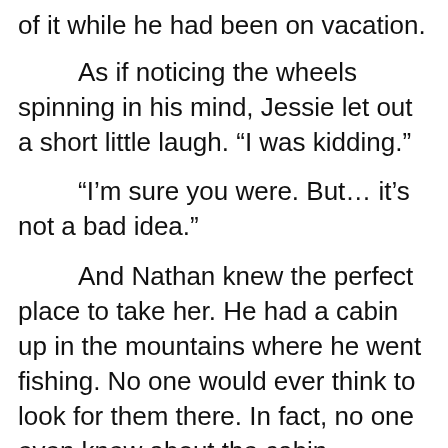of it while he had been on vacation.
As if noticing the wheels spinning in his mind, Jessie let out a short little laugh. “I was kidding.”
“I’m sure you were. But… it’s not a bad idea.”
And Nathan knew the perfect place to take her. He had a cabin up in the mountains where he went fishing. No one would ever think to look for them there. In fact, no one even knew about the cabin, couldn’t trace it back to him because it was in a different name just for that reason. The plan was coming together perfectly.
He could get Mike to drop by her house and pack her suitcase and then get him a